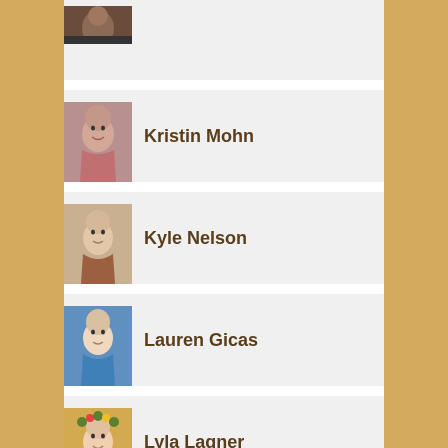[Figure (photo): Partial profile photo at top, cropped]
Kristin Mohn
[Figure (photo): Photo of Kristin Mohn, woman with dark hair, smiling]
Kyle Nelson
[Figure (photo): Photo of Kyle Nelson, man in brown jacket]
Lauren Gicas
[Figure (photo): Photo of Lauren Gicas, woman in blue top]
Lyla Lagner
[Figure (photo): Photo of Lyla Lagner, woman with floral headpiece]
Michael Allegretto
[Figure (photo): Photo of Michael Allegretto, older man with beard]